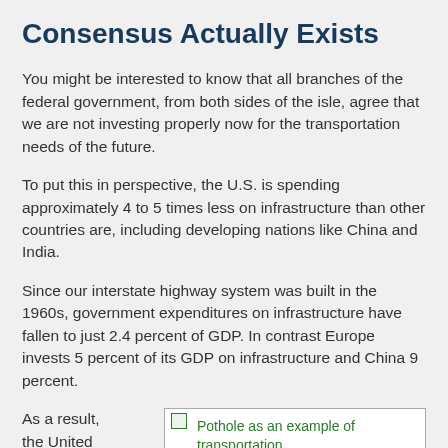Consensus Actually Exists
You might be interested to know that all branches of the federal government, from both sides of the isle, agree that we are not investing properly now for the transportation needs of the future.
To put this in perspective, the U.S. is spending approximately 4 to 5 times less on infrastructure than other countries are, including developing nations like China and India.
Since our interstate highway system was built in the 1960s, government expenditures on infrastructure have fallen to just 2.4 percent of GDP. In contrast Europe invests 5 percent of its GDP on infrastructure and China 9 percent.
As a result, the United
[Figure (photo): Pothole as an example of transportation infrastructure that needs funding to]